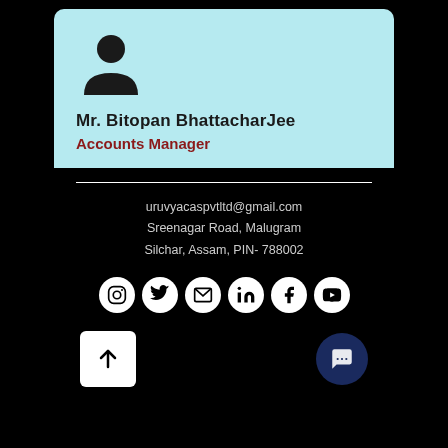[Figure (illustration): Generic person/avatar silhouette icon in black on cyan background]
Mr. Bitopan BhattacharJee
Accounts Manager
uruvyacaspvtltd@gmail.com
Sreenagar Road, Malugram
Silchar, Assam, PIN- 788002
[Figure (illustration): Row of social media icons: Instagram, Twitter, Email, LinkedIn, Facebook, YouTube]
[Figure (illustration): Upload/arrow-up button (white square) and chat button (dark blue circle with speech bubble)]